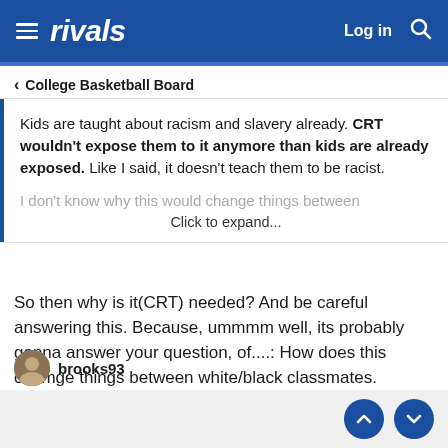rivals — Log in
< College Basketball Board
Kids are taught about racism and slavery already. CRT wouldn't expose them to it anymore than kids are already exposed. Like I said, it doesn't teach them to be racist.

I don't know why this would change things between
Click to expand...
So then why is it(CRT) needed? And be careful answering this. Because, ummmm well, its probably gonna answer your question, of....: How does this chamge things between white/black classmates.
brooks93